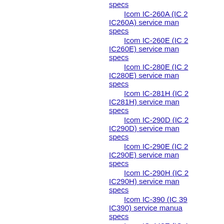specs
Icom IC-260A (IC 2 IC260A) service man specs
Icom IC-260E (IC 2 IC260E) service man specs
Icom IC-280E (IC 2 IC280E) service man specs
Icom IC-281H (IC 2 IC281H) service man specs
Icom IC-290D (IC 2 IC290D) service man specs
Icom IC-290E (IC 2 IC290E) service man specs
Icom IC-290H (IC 2 IC290H) service man specs
Icom IC-390 (IC 39 IC390) service manua specs
Icom IC-448E (IC 4 IC448E) service man specs
Icom IC-449E (IC 4 IC449E) service man specs
Icom IC-481H (IC 4 IC481H) service man